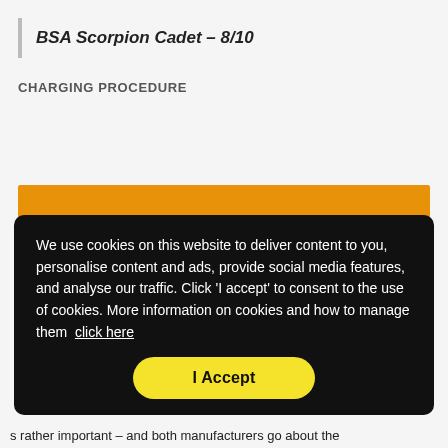BSA Scorpion Cadet – 8/10
CHARGING PROCEDURE
[Figure (other): Orange/amber colored rectangular box, partially visible behind cookie consent overlay]
We use cookies on this website to deliver content to you, personalise content and ads, provide social media features, and analyse our traffic. Click 'I accept' to consent to the use of cookies. More information on cookies and how to manage them click here
I Accept
s rather important – and both manufacturers go about the